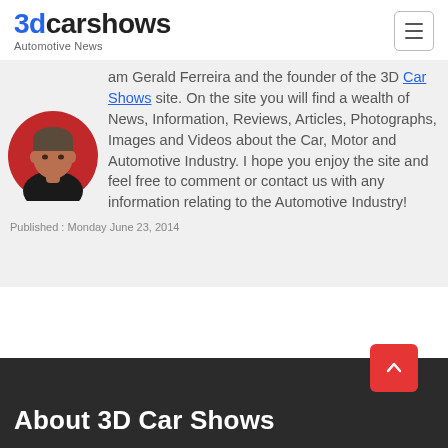3dcarshows Automotive News
am Gerald Ferreira and the founder of the 3D Car Shows site. On the site you will find a wealth of News, Information, Reviews, Articles, Photographs, Images and Videos about the Car, Motor and Automotive Industry. I hope you enjoy the site and feel free to comment or contact us with any information relating to the Automotive Industry!
[Figure (photo): Circular portrait photo of Gerald Ferreira against a red background]
Published : Monday June 23, 2014
About 3D Car Shows